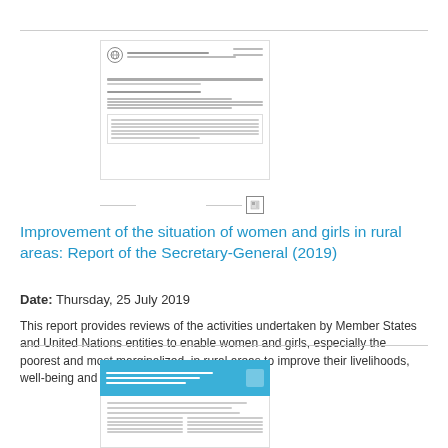[Figure (screenshot): Thumbnail image of a UN document page with UN emblem logo, header lines, title section and body text blocks]
Improvement of the situation of women and girls in rural areas: Report of the Secretary-General (2019)
Date: Thursday, 25 July 2019
This report provides reviews of the activities undertaken by Member States and United Nations entities to enable women and girls, especially the poorest and most marginalized, in rural areas to improve their livelihoods, well-being and resilience in a changing climate.
[Figure (screenshot): Thumbnail image of a document with blue header banner and two-column body text layout]